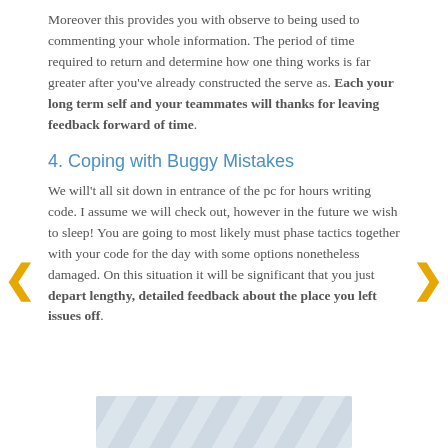Moreover this provides you with observe to being used to commenting your whole information. The period of time required to return and determine how one thing works is far greater after you've already constructed the serve as. Each your long term self and your teammates will thanks for leaving feedback forward of time.
4. Coping with Buggy Mistakes
We will't all sit down in entrance of the pc for hours writing code. I assume we will check out, however in the future we wish to sleep! You are going to most likely must phase tactics together with your code for the day with some options nonetheless damaged. On this situation it will be significant that you just depart lengthy, detailed feedback about the place you left issues off.
[Figure (photo): Partial image strip visible at the bottom of the page, appears to be a document or text image with diagonal lines pattern]